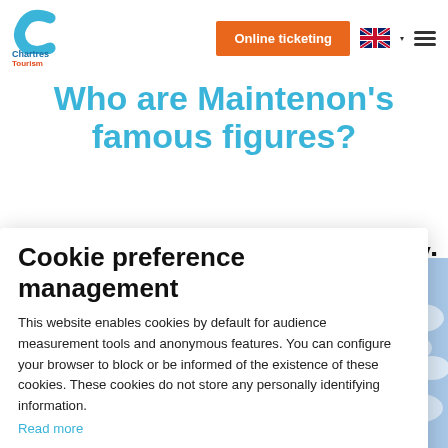Chartres Tourism — Online ticketing
Who are Maintenon's famous figures?
The great century of Louis XIV:
Cookie preference management
This website enables cookies by default for audience measurement tools and anonymous features. You can configure your browser to block or be informed of the existence of these cookies. These cookies do not store any personally identifying information.
Read more
No thanks   I choose   Ok for me